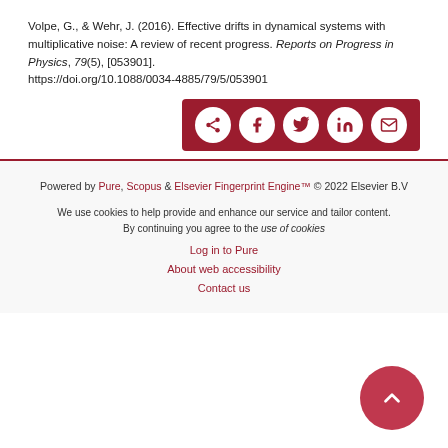Volpe, G., & Wehr, J. (2016). Effective drifts in dynamical systems with multiplicative noise: A review of recent progress. Reports on Progress in Physics, 79(5), [053901]. https://doi.org/10.1088/0034-4885/79/5/053901
[Figure (other): Share bar with dark red background containing share, Facebook, Twitter, LinkedIn, and email icons as white circles]
Powered by Pure, Scopus & Elsevier Fingerprint Engine™ © 2022 Elsevier B.V
We use cookies to help provide and enhance our service and tailor content. By continuing you agree to the use of cookies
Log in to Pure
About web accessibility
Contact us